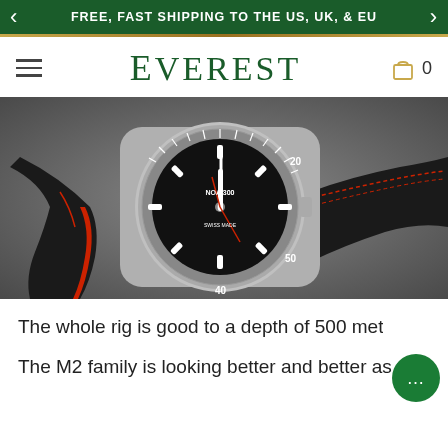FREE, FAST SHIPPING TO THE US, UK, & EU
EVEREST
[Figure (photo): Close-up photograph of a dive watch with a black dial, silver bezel with minute markings, and a black/red NATO-style strap on a grey surface]
The whole rig is good to a depth of 500 met
The M2 family is looking better and better as the